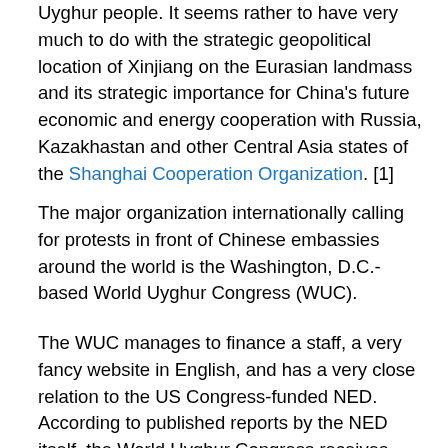Uyghur people. It seems rather to have very much to do with the strategic geopolitical location of Xinjiang on the Eurasian landmass and its strategic importance for China's future economic and energy cooperation with Russia, Kazakhastan and other Central Asia states of the Shanghai Cooperation Organization. [1]
The major organization internationally calling for protests in front of Chinese embassies around the world is the Washington, D.C.-based World Uyghur Congress (WUC).
The WUC manages to finance a staff, a very fancy website in English, and has a very close relation to the US Congress-funded NED. According to published reports by the NED itself, the World Uyghur Congress receives $215,000.00 annually from the National Endowment for Democracy for "human rights research and advocacy